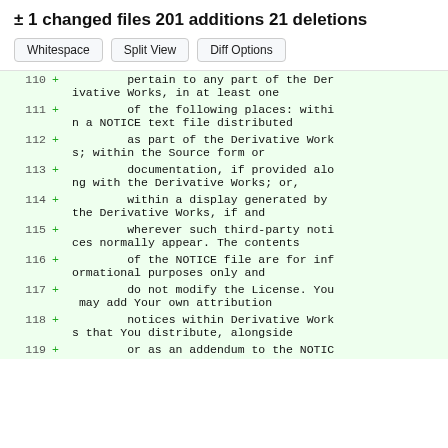± 1 changed files 201 additions 21 deletions
Whitespace | Split View | Diff Options
110 + pertain to any part of the Derivative Works, in at least one
111 + of the following places: within a NOTICE text file distributed
112 + as part of the Derivative Works; within the Source form or
113 + documentation, if provided along with the Derivative Works; or,
114 + within a display generated by the Derivative Works, if and
115 + wherever such third-party notices normally appear. The contents
116 + of the NOTICE file are for informational purposes only and
117 + do not modify the License. You may add Your own attribution
118 + notices within Derivative Works that You distribute, alongside
119 + or as an addendum to the NOTIC